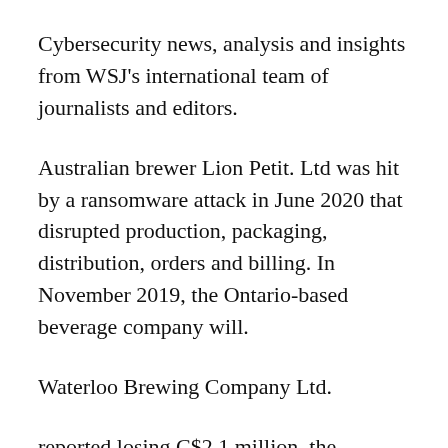Cybersecurity news, analysis and insights from WSJ's international team of journalists and editors.
Australian brewer Lion Petit. Ltd was hit by a ransomware attack in June 2020 that disrupted production, packaging, distribution, orders and billing. In November 2019, the Ontario-based beverage company will.
Waterloo Brewing Company Ltd.
reported losing C$2.1 million, the equivalent of $1.58 million, in a social engineering attack in